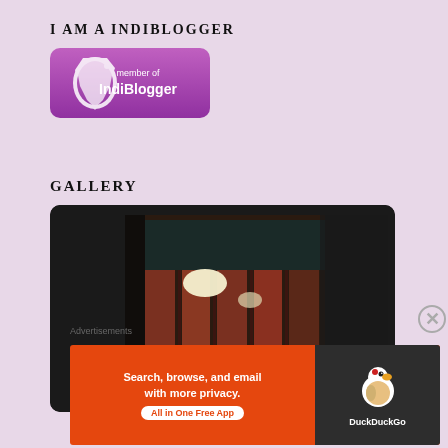I AM A INDIBLOGGER
[Figure (logo): IndiBlogger member badge — purple rounded rectangle with white map of India silhouette and text 'member of IndiBlogger']
GALLERY
[Figure (photo): A dark-framed gallery slideshow showing people socializing in a warm-lit interior space with reddish walls and pendant lights]
Advertisements
[Figure (screenshot): DuckDuckGo advertisement: orange background with text 'Search, browse, and email with more privacy. All in One Free App' and DuckDuckGo logo on dark background]